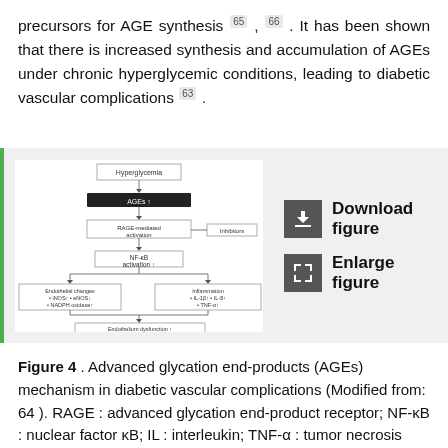precursors for AGE synthesis 65, 66. It has been shown that there is increased synthesis and accumulation of AGEs under chronic hyperglycemic conditions, leading to diabetic vascular complications 63.
[Figure (flowchart): Flowchart showing AGEs mechanism in diabetic vascular complications. Hyperglycemia leads to AGEs↑, then RAGE-mediated activation, then NF-κB activation, branching to endothelial changes (iNOS↑, eNOS↓, NADPH oxidase↑) and inflammation (IL-1β↑, IL-8↑, TNF-α↑), leading to Endothelium dysfunction↑, Coagulation tendency↑, Atherosclerosis↓, and finally Diabetic vascular complications.]
Figure 4. Advanced glycation end-products (AGEs) mechanism in diabetic vascular complications (Modified from: 64). RAGE: advanced glycation end-product receptor; NF-κB: nuclear factor κB; IL: interleukin; TNF-α: tumor necrosis factor α; ROS: reactive oxygen species; eNOS: endothelial nitric oxide synthase; NADPH: nicotinamide adenine dinucleotide